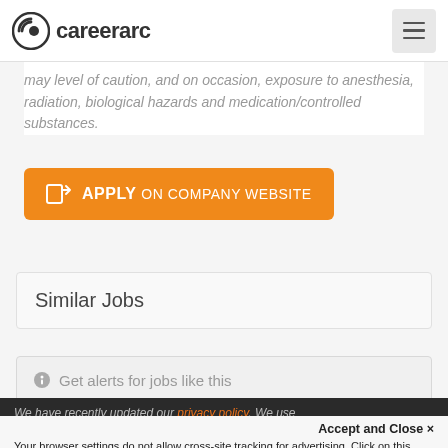careerarc
may level of caution, and on occasion, exposure to anesthesia, radiation, biological hazards and medication/controlled substances.
[Figure (other): Orange 'APPLY ON COMPANY WEBSITE' button with external link icon]
Similar Jobs
Get alerts for jobs like this
We have recently updated our privacy policy. We use
Accept and Close ×
Your browser settings do not allow cross-site tracking for advertising. Click on this page to allow AdRoll to use cross-site tracking to tailor ads to you. Learn more or opt out of this AdRoll tracking by clicking here. This message only appears once.